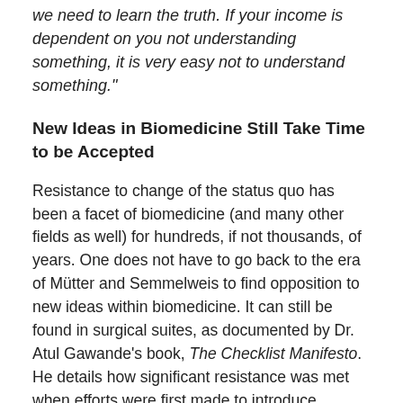we need to learn the truth. If your income is dependent on you not understanding something, it is very easy not to understand something."
New Ideas in Biomedicine Still Take Time to be Accepted
Resistance to change of the status quo has been a facet of biomedicine (and many other fields as well) for hundreds, if not thousands, of years. One does not have to go back to the era of Mütter and Semmelweis to find opposition to new ideas within biomedicine. It can still be found in surgical suites, as documented by Dr. Atul Gawande’s book, The Checklist Manifesto. He details how significant resistance was met when efforts were first made to introduce checklists into operating room protocols. Resistance in biomedicine is not limited to surgeons. Two other examples that come to mind:
The idea that bacteria can be the cause of the…